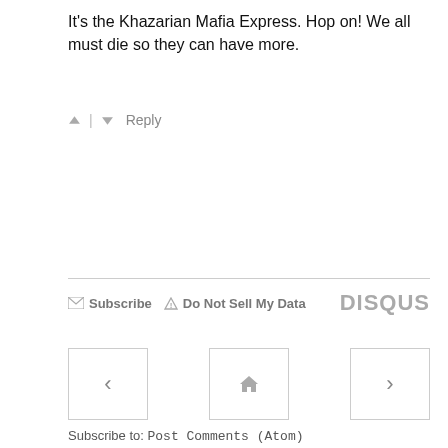It's the Khazarian Mafia Express. Hop on! We all must die so they can have more.
^ | v  Reply
Subscribe  ⚠ Do Not Sell My Data   DISQUS
[Figure (screenshot): Navigation buttons: previous (<), home (house icon), next (>)]
Subscribe to: Post Comments (Atom)
[Figure (photo): Image with text overlay: 'Fmr. Obama Economic Advisor Lowering 'Very...' on dark background with person in background]